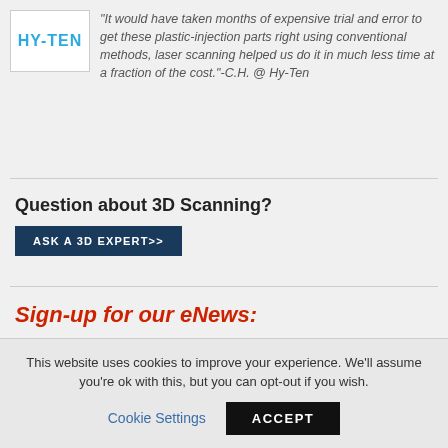[Figure (logo): HY-TEN logo in blue/cyan text on white background]
“It would have taken months of expensive trial and error to get these plastic-injection parts right using conventional methods, laser scanning helped us do it in much less time at a fraction of the cost.” -C.H. @ Hy-Ten
Question about 3D Scanning?
ASK A 3D EXPERT>>
Sign-up for our eNews:
Email Address
This website uses cookies to improve your experience. We'll assume you're ok with this, but you can opt-out if you wish.
Cookie Settings
ACCEPT